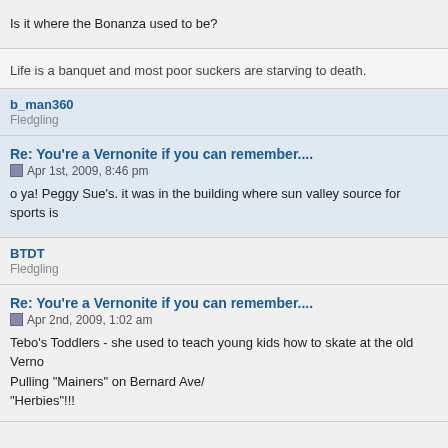Is it where the Bonanza used to be?
Life is a banquet and most poor suckers are starving to death.
b_man360
Fledgling
Re: You're a Vernonite if you can remember....
Apr 1st, 2009, 8:46 pm
o ya! Peggy Sue's. it was in the building where sun valley source for sports is
BTDT
Fledgling
Re: You're a Vernonite if you can remember....
Apr 2nd, 2009, 1:02 am
Tebo's Toddlers - she used to teach young kids how to skate at the old Verno
Pulling "Mainers" on Bernard Ave/
"Herbies"!!!